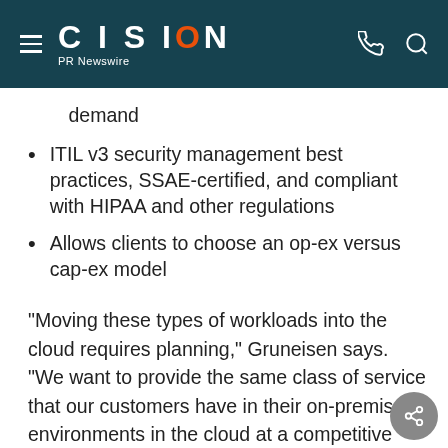CISION PR Newswire
demand
ITIL v3 security management best practices, SSAE-certified, and compliant with HIPAA and other regulations
Allows clients to choose an op-ex versus cap-ex model
"Moving these types of workloads into the cloud requires planning," Gruneisen says. "We want to provide the same class of service that our customers have in their on-premise environments in the cloud at a competitive price. Our teams are trained to help clients understand the business value that cloud